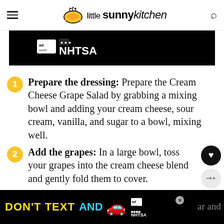little sunny kitchen
[Figure (screenshot): Ad Council NHTSA advertisement banner, black background]
Prepare the dressing: Prepare the Cream Cheese Grape Salad by grabbing a mixing bowl and adding your cream cheese, sour cream, vanilla, and sugar to a bowl, mixing well.
Add the grapes: In a large bowl, toss your grapes into the cream cheese blend and gently fold them to cover.
[Figure (screenshot): DON'T TEXT AND drive advertisement banner, NHTSA, with red car illustration]